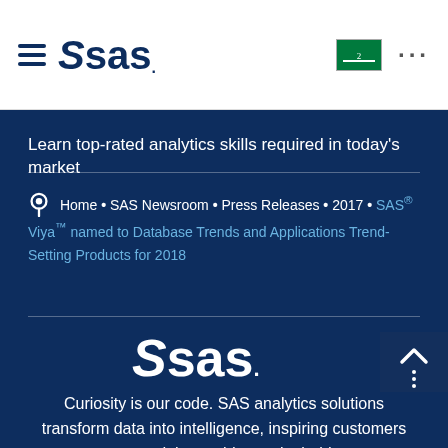SAS navigation bar with hamburger menu, SAS logo, Saudi Arabia flag icon, and dots menu
Learn top-rated analytics skills required in today's market
Home • SAS Newsroom • Press Releases • 2017 • SAS® Viya™ named to Database Trends and Applications Trend-Setting Products for 2018
[Figure (logo): SAS logo large white on dark blue background]
Curiosity is our code. SAS analytics solutions transform data into intelligence, inspiring customers around the world to make bold